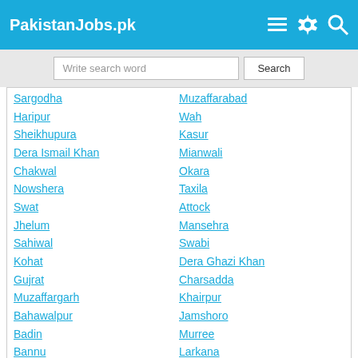PakistanJobs.pk
Write search word | Search
Sargodha
Haripur
Sheikhupura
Dera Ismail Khan
Chakwal
Nowshera
Swat
Jhelum
Sahiwal
Kohat
Gujrat
Muzaffargarh
Bahawalpur
Badin
Bannu
Muzaffarabad
Wah
Kasur
Mianwali
Okara
Taxila
Attock
Mansehra
Swabi
Dera Ghazi Khan
Charsadda
Khairpur
Jamshoro
Murree
Larkana
International Jobs
Dubai
Riyadh
Abu Dhabi
Jeddah